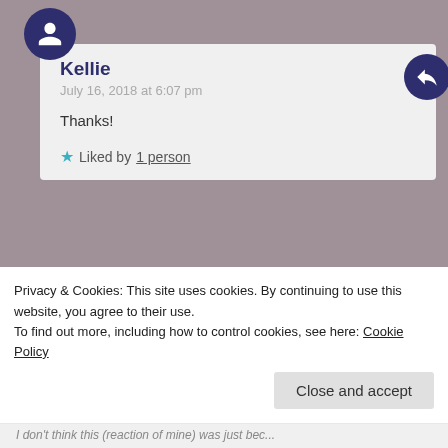Kellie
July 16, 2018 at 6:07 pm
Thanks!
Liked by 1 person
the dark netizen
July 17, 2018 at 4:27 am
😊
Liked by 1 person
Privacy & Cookies: This site uses cookies. By continuing to use this website, you agree to their use.
To find out more, including how to control cookies, see here: Cookie Policy
Close and accept
I don't think this (reaction of mine) was just bec...